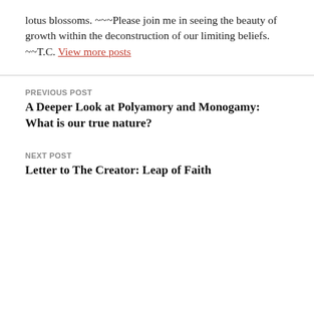lotus blossoms. ~~~Please join me in seeing the beauty of growth within the deconstruction of our limiting beliefs. ~~T.C. View more posts
PREVIOUS POST
A Deeper Look at Polyamory and Monogamy: What is our true nature?
NEXT POST
Letter to The Creator: Leap of Faith